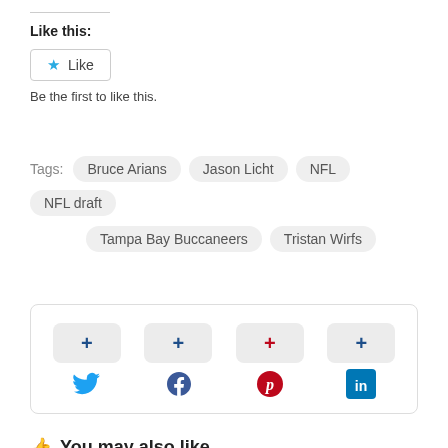Like this:
[Figure (other): Like button with star icon]
Be the first to like this.
Tags: Bruce Arians  Jason Licht  NFL  NFL draft  Tampa Bay Buccaneers  Tristan Wirfs
[Figure (infographic): Social share buttons: Twitter, Facebook, Pinterest, LinkedIn with plus icons]
You may also like...